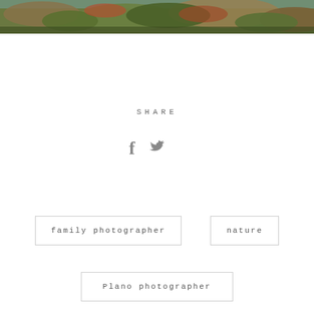[Figure (photo): Partial view of a nature/landscape photo showing rocky terrain with green moss, shrubs, and desert vegetation.]
SHARE
[Figure (infographic): Social sharing icons: Facebook (f) and Twitter (bird) icons in gray]
family photographer
nature
Plano photographer